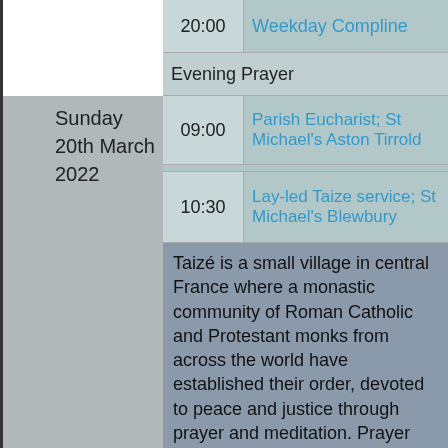|  | 20:00 | Weekday Compline |
|  |  | Evening Prayer |
| Sunday 20th March 2022 | 09:00 | Parish Eucharist; St Michael's Aston Tirrold |
| Sunday 20th March 2022 | 10:30 | Lay-led Taize service; St Michael's Blewbury |
Taizé is a small village in central France where a monastic community of Roman Catholic and Protestant monks from across the world have established their order, devoted to peace and justice through prayer and meditation. Prayer and silence are at the heart of the Taizé experience. Christians from every corner of the globe visit the Community and are encouraged to live out the Christian gospel in a spirit of joy, simplicity and reconciliation. The music of Taizé is based on repeated prayer chants with simple phrases, with words